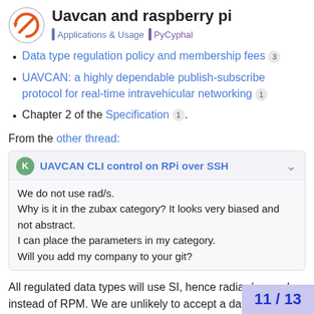Uavcan and raspberry pi | Applications & Usage | PyCyphal
Data type regulation policy and membership fees [3]
UAVCAN: a highly dependable publish-subscribe protocol for real-time intravehicular networking [1]
Chapter 2 of the Specification [1].
From the other thread:
UAVCAN CLI control on RPi over SSH
We do not use rad/s.
Why is it in the zubax category? It looks very biased and not abstract.
I can place the parameters in my category.
Will you add my company to your git?
All regulated data types will use SI, hence radian/second instead of RPM. We are unlikely to accept a data type using RPM because it does not follow the application recommendations outlined in the Specifica...
11 / 13